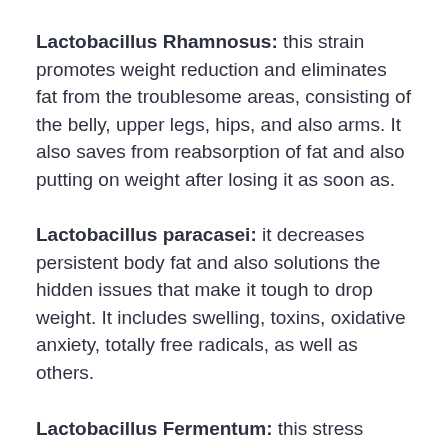Lactobacillus Rhamnosus: this strain promotes weight reduction and eliminates fat from the troublesome areas, consisting of the belly, upper legs, hips, and also arms. It also saves from reabsorption of fat and also putting on weight after losing it as soon as.
Lactobacillus paracasei: it decreases persistent body fat and also solutions the hidden issues that make it tough to drop weight. It includes swelling, toxins, oxidative anxiety, totally free radicals, as well as others.
Lactobacillus Fermentum: this stress provides cholesterol monitoring and also immunological